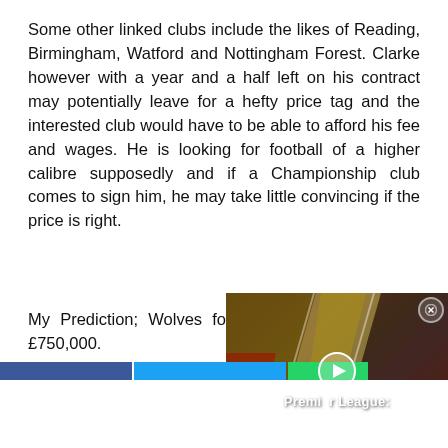Some other linked clubs include the likes of Reading, Birmingham, Watford and Nottingham Forest. Clarke however with a year and a half left on his contract may potentially leave for a hefty price tag and the interested club would have to be able to afford his fee and wages. He is looking for football of a higher calibre supposedly and if a Championship club comes to sign him, he may take little convincing if the price is right.
My Prediction; Wolves for a fee in the region of £750,000.
[Figure (screenshot): Video overlay showing Premier League football players collage with a play button in the center and 'Premier League:' text label]